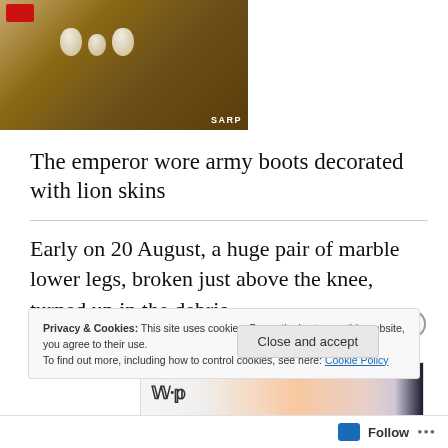[Figure (photo): Archaeological photo showing large teeth/molars embedded in soil/debris, with a red object visible at top left. Caption label 'SARP' in lower right.]
The emperor wore army boots decorated with lion skins
Early on 20 August, a huge pair of marble lower legs, broken just above the knee, turned up in the debris.
[Figure (screenshot): Partial advertisement banner showing Washington Post WP logo on left and a gradient orange/purple/dark smartphone image on right.]
REPORT THIS AD
Privacy & Cookies: This site uses cookies. By continuing to use this website, you agree to their use.
To find out more, including how to control cookies, see here: Cookie Policy
Close and accept
Follow